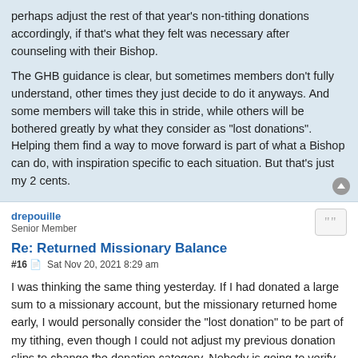perhaps adjust the rest of that year's non-tithing donations accordingly, if that's what they felt was necessary after counseling with their Bishop.

The GHB guidance is clear, but sometimes members don't fully understand, other times they just decide to do it anyways. And some members will take this in stride, while others will be bothered greatly by what they consider as "lost donations". Helping them find a way to move forward is part of what a Bishop can do, with inspiration specific to each situation. But that's just my 2 cents.
drepouille
Senior Member
Re: Returned Missionary Balance
#16  Sat Nov 20, 2021 8:29 am
I was thinking the same thing yesterday. If I had donated a large sum to a missionary account, but the missionary returned home early, I would personally consider the "lost donation" to be part of my tithing, even though I could not adjust my previous donation slips to change the donation category. Nobody is going to verify my tithing against my paycheck or income tax forms. The amount I claim as a charitable income tax deduction will not change.